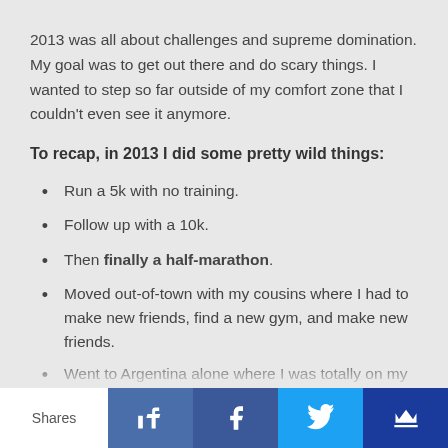2013 was all about challenges and supreme domination. My goal was to get out there and do scary things. I wanted to step so far outside of my comfort zone that I couldn't even see it anymore.
To recap, in 2013 I did some pretty wild things:
Run a 5k with no training.
Follow up with a 10k.
Then finally a half-marathon.
Moved out-of-town with my cousins where I had to make new friends, find a new gym, and make new friends.
Went to Argentina alone where I was totally on my own.